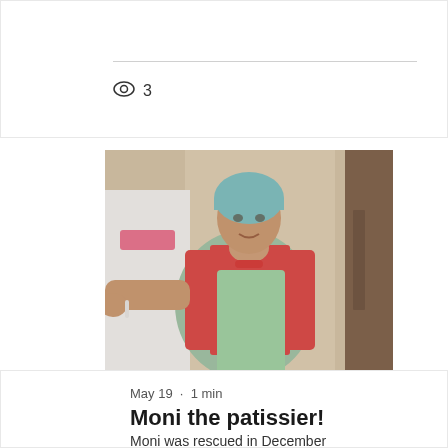3 views
[Figure (photo): Woman wearing a red cardigan and green/teal apron with a teal hair cover, standing in what appears to be a kitchen setting. The image is slightly blurred.]
May 19  ·  1 min
Moni the patissier!
Moni was rescued in December 2020. Now she is a baker in...